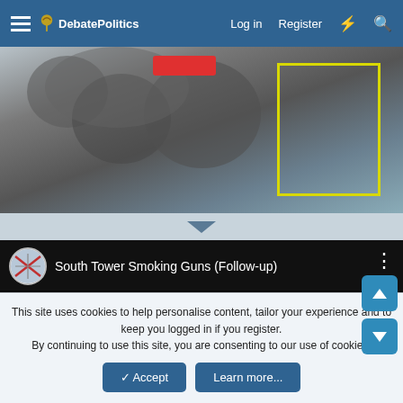DebatePolitics — Log in  Register
[Figure (photo): Smoke cloud image with red button at top center and yellow rectangle highlight on right side]
[Figure (screenshot): YouTube-style video embed: 'South Tower Smoking Guns (Follow-up)' with channel avatar and three-dot menu, black video body]
This site uses cookies to help personalise content, tailor your experience and to keep you logged in if you register.
By continuing to use this site, you are consenting to our use of cookies.